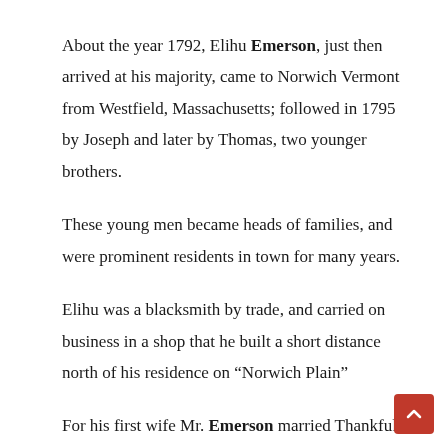About the year 1792, Elihu Emerson, just then arrived at his majority, came to Norwich Vermont from Westfield, Massachusetts; followed in 1795 by Joseph and later by Thomas, two younger brothers.
These young men became heads of families, and were prominent residents in town for many years.
Elihu was a blacksmith by trade, and carried on business in a shop that he built a short distance north of his residence on “Norwich Plain”
For his first wife Mr. Emerson married Thankful Grant, and for